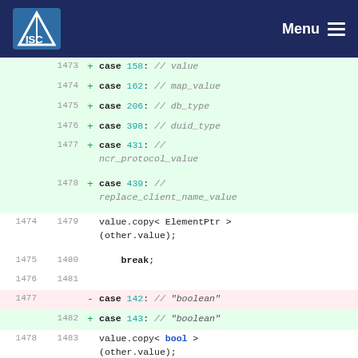ISC Menu
Code diff showing case statements in a C++ switch block
| old_ln | new_ln | sign | code |
| --- | --- | --- | --- |
|  | 1473 | + | case 158: // value |
|  | 1474 | + | case 162: // map_value |
|  | 1475 | + | case 206: // db_type |
|  | 1476 | + | case 398: // duid_type |
|  | 1477 | + | case 431: // ncr_protocol_value |
|  | 1478 | + | case 439: // replace_client_name_value |
| 1474 | 1479 |  | value.copy< ElementPtr >(other.value); |
| 1475 | 1480 |  | break; |
| 1476 | 1481 |  |  |
| 1477 |  | - | case 142: // "boolean" |
|  | 1482 | + | case 143: // "boolean" |
| 1478 | 1483 |  | value.copy< bool >(other.value); |
| 1479 | 1484 |  | break; |
| 1480 | 1485 |  |  |
| 1481 |  | - | case 141: // "floating point" |
|  | 1486 | + | case 142: // "floating point" |